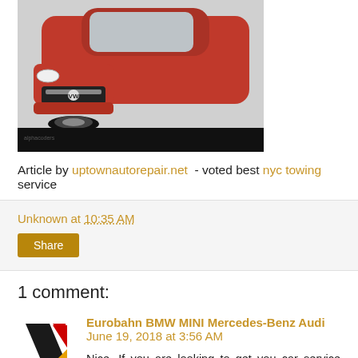[Figure (photo): Red car (Volkswagen Golf) photographed from the front, partially cropped, on a light grey background with a black strip at the bottom.]
Article by uptownautorepair.net - voted best nyc towing service
Unknown at 10:35 AM
Share
1 comment:
Eurobahn BMW MINI Mercedes-Benz Audi June 19, 2018 at 3:56 AM
Nice, If you are looking to get you car service then visit Volkswagen Service from there you can get the best service for your car at affordable price.